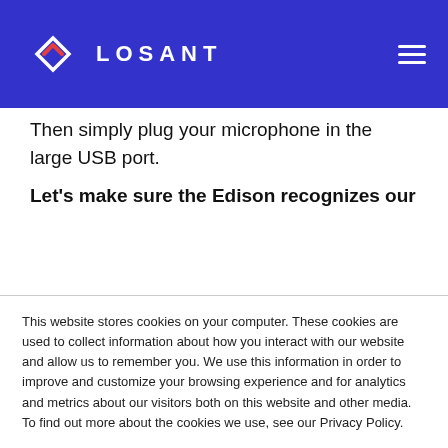LOSANT
Then simply plug your microphone in the large USB port.
Let's make sure the Edison recognizes our
This website stores cookies on your computer. These cookies are used to collect information about how you interact with our website and allow us to remember you. We use this information in order to improve and customize your browsing experience and for analytics and metrics about our visitors both on this website and other media. To find out more about the cookies we use, see our Privacy Policy.
If you decline, your information won't be tracked when you visit this website. A single cookie will be used in your browser to remember your preference not to be tracked.